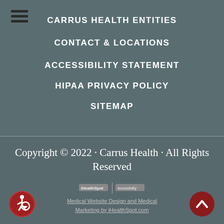[Figure (infographic): Hamburger menu icon (three horizontal dark lines)]
CARRUS HEALTH ENTITIES
CONTACT & LOCATIONS
ACCESSIBILITY STATEMENT
HIPAA PRIVACY POLICY
SITEMAP
Copyright © 2022 · Carrus Health · All Rights Reserved
[Figure (logo): iHealthSpot logo bar with two logo marks separated by a vertical line]
Medical Website Design and Medical Marketing by iHealthSpot.com
[Figure (logo): Accessibility icon - person in wheelchair in red circle, bottom left]
[Figure (other): Back to top arrow button - dark red circle with upward chevron, bottom right]